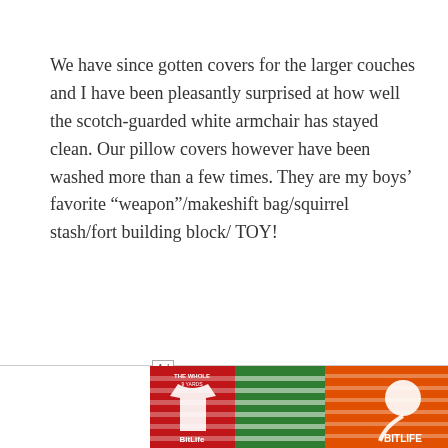We have since gotten covers for the larger couches and I have been pleasantly surprised at how well the scotch-guarded white armchair has stayed clean. Our pillow covers however have been washed more than a few times. They are my boys’ favorite “weapon”/makeshift bag/squirrel stash/fort building block/ TOY!
[Figure (screenshot): Advertisement banner for BitLife - Life Simulator app with Ad label, app icon showing a football jersey and sperm logo on red/green and orange backgrounds, app title, and Install button]